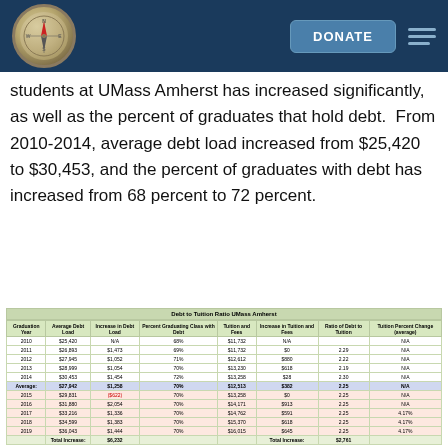[Figure (other): Website navigation header bar with compass logo, DONATE button, and hamburger menu on dark blue background]
students at UMass Amherst has increased significantly, as well as the percent of graduates that hold debt.  From 2010-2014, average debt load increased from $25,420 to $30,453, and the percent of graduates with debt has increased from 68 percent to 72 percent.
| Graduation Year | Average Debt Load | Increase in Debt Load | Percent Graduating Class with Debt | Tuition and Fees | Increase in Tuition and Fees | Ratio of Debt to Tuition | Tuition Percent Change (average) |
| --- | --- | --- | --- | --- | --- | --- | --- |
| 2010 | $25,420 | N/A | 68% | $11,732 | N/A |  | N/A |
| 2011 | $26,893 | $1,473 | 69% | $11,732 | $0 | 2.29 | N/A |
| 2012 | $27,945 | $1,052 | 71% | $12,612 | $880 | 2.22 | N/A |
| 2013 | $28,999 | $1,054 | 70% | $13,230 | $618 | 2.19 | N/A |
| 2014 | $30,453 | $1,454 | 72% | $13,258 | $28 | 2.30 | N/A |
| Average: | $27,942 | $1,258 | 70% | $12,513 | $382 | 2.25 | N/A |
| 2015 | $29,831 | ($622) | 70% | $13,258 | $0 | 2.25 | N/A |
| 2016 | $31,880 | $2,054 | 70% | $14,171 | $913 | 2.25 | N/A |
| 2017 | $33,216 | $1,336 | 70% | $14,762 | $591 | 2.25 | 4.17% |
| 2018 | $34,599 | $1,383 | 70% | $15,370 | $618 | 2.25 | 4.17% |
| 2019 | $36,043 | $1,444 | 70% | $16,015 | $645 | 2.25 | 4.17% |
|  | Total Increase: | $6,232 |  |  | Total Increase: | $2,761 |  |